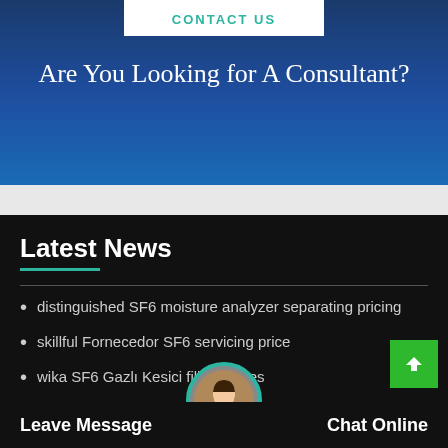CONTACT US
Are You Looking for A Consultant?
Latest News
distinguished SF6 moisture analyzer separating pricing
skillful Fornecedor SF6 servicing price
wika SF6 Gazlı Kesici filling prices
capital Wuhan huayi SF6 recovery cost
excellent Wuhan huayi SF6 pressure cost
Leave Message
Chat Online